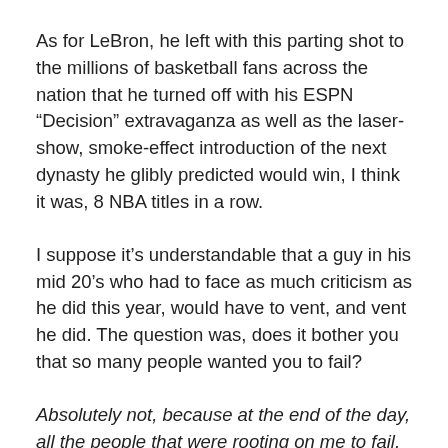As for LeBron, he left with this parting shot to the millions of basketball fans across the nation that he turned off with his ESPN “Decision” extravaganza as well as the laser-show, smoke-effect introduction of the next dynasty he glibly predicted would win, I think it was, 8 NBA titles in a row.
I suppose it’s understandable that a guy in his mid 20’s who had to face as much criticism as he did this year, would have to vent, and vent he did. The question was, does it bother you that so many people wanted you to fail?
Absolutely not, because at the end of the day, all the people that were rooting on me to fail, at the end of the day, they have to wake up tomorrow and have the same life that they had before they woke up today. They have the same personal problems they had today. I’m going to